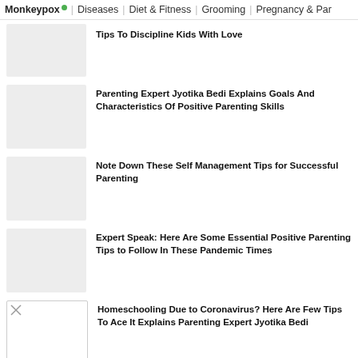Monkeypox | Diseases | Diet & Fitness | Grooming | Pregnancy & Par...
Tips To Discipline Kids With Love
[Figure (photo): Thumbnail image placeholder (gray rectangle)]
Parenting Expert Jyotika Bedi Explains Goals And Characteristics Of Positive Parenting Skills
[Figure (photo): Thumbnail image placeholder (gray rectangle)]
Note Down These Self Management Tips for Successful Parenting
[Figure (photo): Thumbnail image placeholder (gray rectangle)]
Expert Speak: Here Are Some Essential Positive Parenting Tips to Follow In These Pandemic Times
[Figure (photo): Thumbnail image placeholder (gray rectangle)]
Homeschooling Due to Coronavirus? Here Are Few Tips To Ace It Explains Parenting Expert Jyotika Bedi
[Figure (photo): Thumbnail image placeholder with small broken image icon]